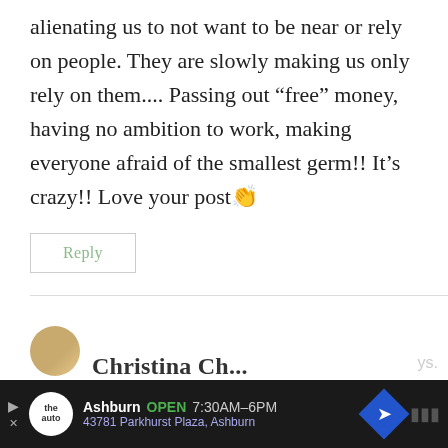alienating us to not want to be near or rely on people. They are slowly making us only rely on them.... Passing out “free” money, having no ambition to work, making everyone afraid of the smallest germ!! It’s crazy!! Love your post👏
Reply
[Figure (screenshot): Advertisement bar at the bottom showing 'the auto' logo, Ashburn OPEN 7:30AM-6PM, 43781 Parkhurst Plaza, Ashburn, with a blue diamond navigation icon]